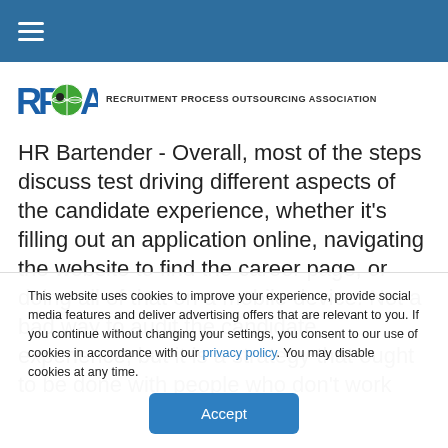RPOA — Recruitment Process Outsourcing Association (navigation bar with hamburger menu)
[Figure (logo): RPOA logo with globe icon and text 'RECRUITMENT PROCESS OUTSOURCING ASSOCIATION']
HR Bartender - Overall, most of the steps discuss test driving different aspects of the candidate experience, whether it's filling out an application online, navigating the website to find the career page, or doing all of that on a mobile device. Not a bad way to audit the candidate experience, but it is a strategy that ought to be done with people who don't work
This website uses cookies to improve your experience, provide social media features and deliver advertising offers that are relevant to you. If you continue without changing your settings, you consent to our use of cookies in accordance with our privacy policy. You may disable cookies at any time.
Accept